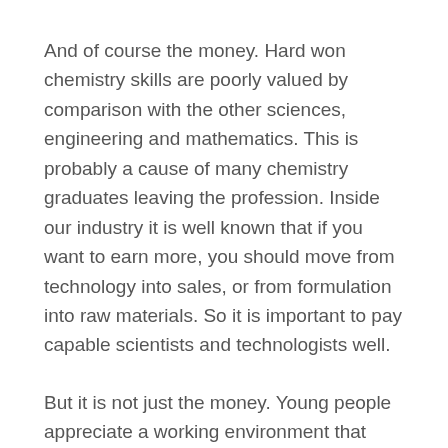And of course the money. Hard won chemistry skills are poorly valued by comparison with the other sciences, engineering and mathematics. This is probably a cause of many chemistry graduates leaving the profession. Inside our industry it is well known that if you want to earn more, you should move from technology into sales, or from formulation into raw materials. So it is important to pay capable scientists and technologists well.
But it is not just the money. Young people appreciate a working environment that reflects their values and their interest in achieving a good work life balance. Nothing needs to be invented, companies just need to look at other sectors where young people flock and see what they are doing.